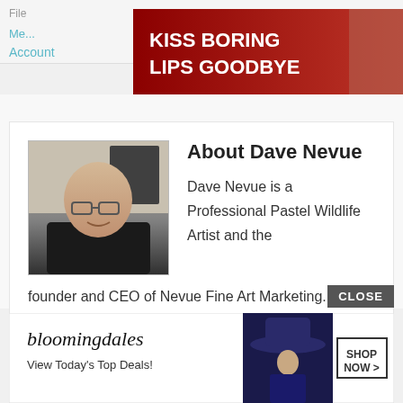File
Me...
Account
[Figure (screenshot): Macy's advertisement banner: 'KISS BORING LIPS GOODBYE' with red lips photo, SHOP NOW button, and Macy's star logo on dark red background]
[Figure (photo): Headshot photo of Dave Nevue, bald man with glasses wearing black shirt]
About Dave Nevue
Dave Nevue is a Professional Pastel Wildlife Artist and the founder and CEO of Nevue Fine Art Marketing. He also authored the eBook The Productive Artist How to Live Your Dreams, and provides courses on art marketing a...
[Figure (screenshot): Bloomingdales advertisement banner: bloomingdales logo, 'View Today's Top Deals!' tagline, woman with hat image, and SHOP NOW button]